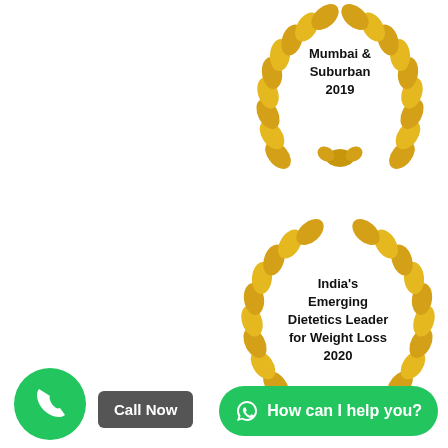[Figure (illustration): Laurel wreath award badge (partially cropped at top) with text 'Mumbai & Suburban 2019' in the center]
[Figure (illustration): Laurel wreath award badge with text 'India’s Emerging Dietetics Leader for Weight Loss 2020' in the center]
[Figure (illustration): Green phone icon button (circular)]
Call Now
How can I help you?